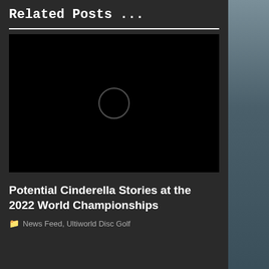Related Posts ...
[Figure (photo): Black image placeholder with a circular loading/play icon in the center]
Potential Cinderella Stories at the 2022 World Championships
News Feed, Ultiworld Disc Golf